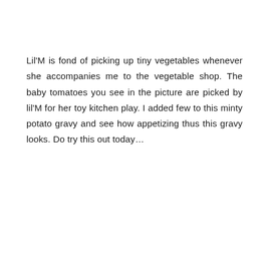Lil'M is fond of picking up tiny vegetables whenever she accompanies me to the vegetable shop. The baby tomatoes you see in the picture are picked by lil'M for her toy kitchen play. I added few to this minty potato gravy and see how appetizing thus this gravy looks. Do try this out today…